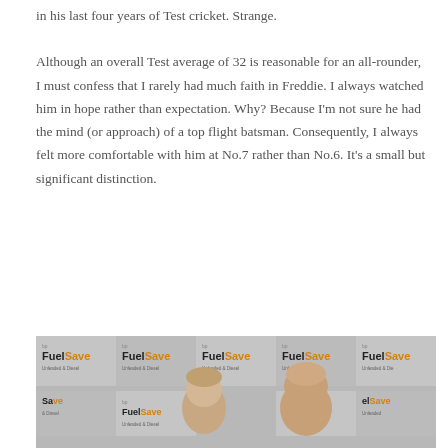in his last four years of Test cricket. Strange.

Although an overall Test average of 32 is reasonable for an all-rounder, I must confess that I rarely had much faith in Freddie. I always watched him in hope rather than expectation. Why? Because I'm not sure he had the mind (or approach) of a top flight batsman. Consequently, I always felt more comfortable with him at No.7 rather than No.6. It's a small but significant distinction.
[Figure (photo): Two people (one with light hair, one bald) photographed in front of a repeating FuelSave Unleaded & Diesel branded backdrop.]